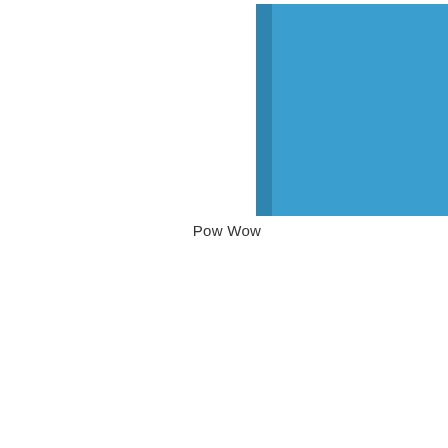[Figure (illustration): A blue hardcover book shown from a slightly angled front view, with a darker blue spine on the left side. The book is oriented horizontally, cover facing viewer.]
Pow Wow
[Figure (illustration): A second blue hardcover book, similar to the one above, partially cropped at the bottom of the page. Same darker blue spine on the left side.]